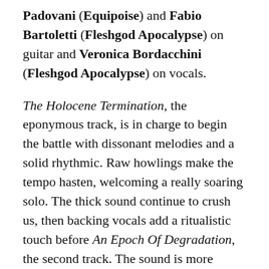Padovani (Equipoise) and Fabio Bartoletti (Fleshgod Apocalypse) on guitar and Veronica Bordacchini (Fleshgod Apocalypse) on vocals.
The Holocene Termination, the eponymous track, is in charge to begin the battle with dissonant melodies and a solid rhythmic. Raw howlings make the tempo hasten, welcoming a really soaring solo. The thick sound continue to crush us, then backing vocals add a ritualistic touch before An Epoch Of Degradation, the second track. The sound is more aggressive, darker, and the mad leads unveil sharp tones, while the rhythmic section overtly strikes before offering a hooking groove. Wild howlings drive us straight to From Extinction Begins Evolution, an oppressive and heavy song which counts on some more technical